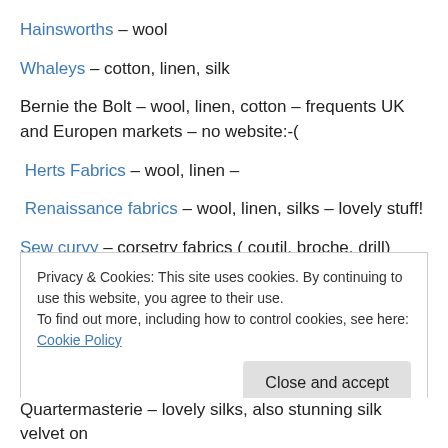Hainsworths – wool
Whaleys – cotton, linen, silk
Bernie the Bolt – wool, linen, cotton – frequents UK and Europen markets – no website:-(
Herts Fabrics – wool, linen –
Renaissance fabrics – wool, linen, silks – lovely stuff!
Sew curvy – corsetry fabrics ( coutil, broche, drill)
Privacy & Cookies: This site uses cookies. By continuing to use this website, you agree to their use.
To find out more, including how to control cookies, see here: Cookie Policy
Quartermasterie – lovely silks, also stunning silk velvet on